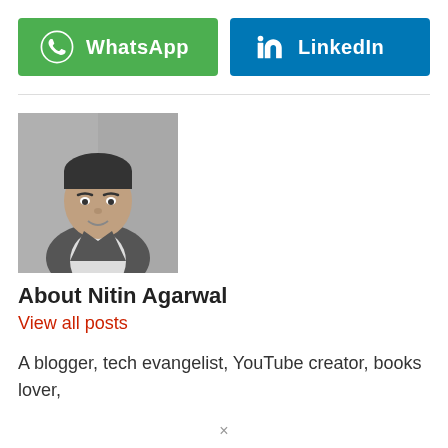[Figure (other): WhatsApp button with icon and text]
[Figure (other): LinkedIn button with icon and text]
[Figure (photo): Black and white photo of Nitin Agarwal, a young man in a suit jacket]
About Nitin Agarwal
View all posts
A blogger, tech evangelist, YouTube creator, books lover,